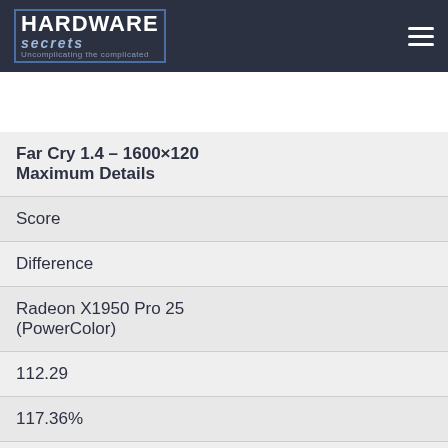Hardware Secrets - Uncomplicating the complicated
|  | Far Cry 1.4 – 1600×1200 Maximum Details |
| --- | --- |
|  | Score |
|  | Difference |
|  | Radeon X1950 Pro 256MB (PowerColor) |
|  | 112.29 |
|  | 117.36% |
|  | GeForce 8600 GTS 256MB |
|  | 78.86 |